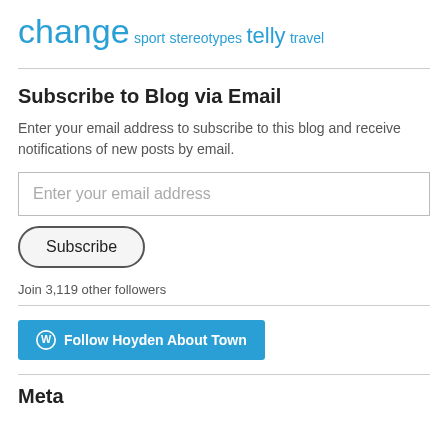change sport stereotypes telly travel
Subscribe to Blog via Email
Enter your email address to subscribe to this blog and receive notifications of new posts by email.
Enter your email address
Subscribe
Join 3,119 other followers
[Figure (other): Follow Hoyden About Town button with WordPress logo]
Meta